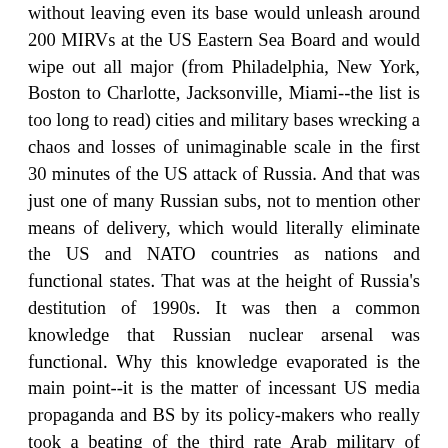without leaving even its base would unleash around 200 MIRVs at the US Eastern Sea Board and would wipe out all major (from Philadelphia, New York, Boston to Charlotte, Jacksonville, Miami--the list is too long to read) cities and military bases wrecking a chaos and losses of unimaginable scale in the first 30 minutes of the US attack of Russia. And that was just one of many Russian subs, not to mention other means of delivery, which would literally eliminate the US and NATO countries as nations and functional states. That was at the height of Russia's destitution of 1990s. It was then a common knowledge that Russian nuclear arsenal was functional. Why this knowledge evaporated is the main point--it is the matter of incessant US media propaganda and BS by its policy-makers who really took a beating of the third rate Arab military of Saddam in 1991 for a real war.
Today is 2022, Russia not only fully retained but perfected her strategic arsenal which makes US nuclear forces look like a backwater. Moreover, unlike it was the case in